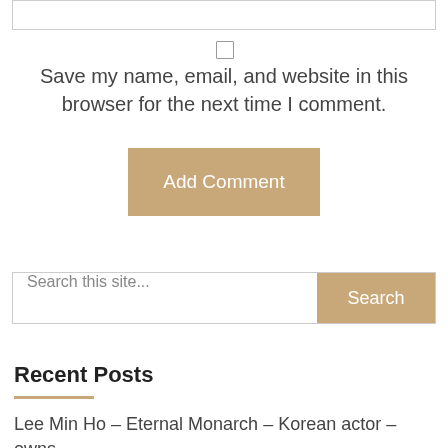Save my name, email, and website in this browser for the next time I comment.
Add Comment
Search this site...
Recent Posts
Lee Min Ho – Eternal Monarch – Korean actor – owns